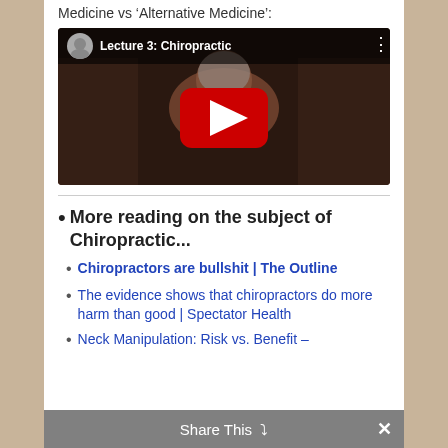Medicine vs 'Alternative Medicine':
[Figure (screenshot): YouTube video thumbnail for 'Lecture 3: Chiropractic' showing an elderly bearded man seated in front of a bookshelf, with a red YouTube play button overlay and video header showing avatar, title, and menu dots.]
More reading on the subject of Chiropractic...
Chiropractors are bullshit | The Outline
The evidence shows that chiropractors do more harm than good | Spectator Health
Neck Manipulation: Risk vs. Benefit –